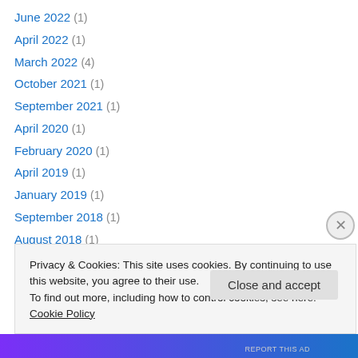June 2022 (1)
April 2022 (1)
March 2022 (4)
October 2021 (1)
September 2021 (1)
April 2020 (1)
February 2020 (1)
April 2019 (1)
January 2019 (1)
September 2018 (1)
August 2018 (1)
July 2018 (2)
June 2018 (2)
Privacy & Cookies: This site uses cookies. By continuing to use this website, you agree to their use. To find out more, including how to control cookies, see here: Cookie Policy
Close and accept